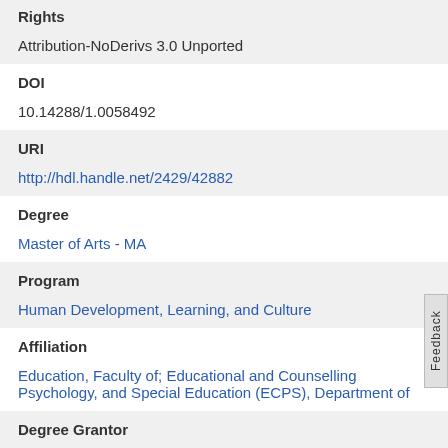Rights
Attribution-NoDerivs 3.0 Unported
DOI
10.14288/1.0058492
URI
http://hdl.handle.net/2429/42882
Degree
Master of Arts - MA
Program
Human Development, Learning, and Culture
Affiliation
Education, Faculty of; Educational and Counselling Psychology, and Special Education (ECPS), Department of
Degree Grantor
University of British Columbia